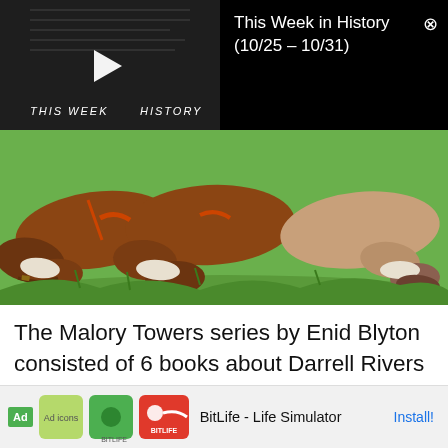[Figure (screenshot): Video thumbnail for 'This Week in History' with play button and title overlay, dark/black background, text reads THIS WEEK IN HISTORY]
This Week in History (10/25 – 10/31)
[Figure (illustration): Illustrated image showing children/figures lying on green grass, partial view of legs and shoes in colorful vintage illustration style, from Malory Towers book cover]
The Malory Towers series by Enid Blyton consisted of 6 books about Darrell Rivers and her friends Sally, Alicia and Mary-Lou, enjoying (and being challenged by) their time at boarding school
[Figure (screenshot): Advertisement bar at bottom: Ad label, BitLife icons, 'BitLife - Life Simulator', Install button]